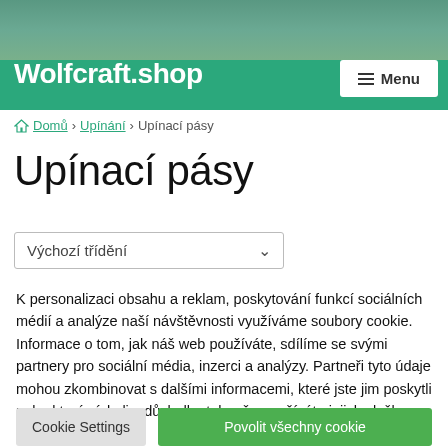Wolfcraft.shop
Domů › Upínání › Upínací pásy
Upínací pásy
Výchozí třídění
K personalizaci obsahu a reklam, poskytování funkcí sociálních médií a analýze naší návštěvnosti využíváme soubory cookie. Informace o tom, jak náš web používáte, sdílíme se svými partnery pro sociální média, inzerci a analýzy. Partneři tyto údaje mohou zkombinovat s dalšími informacemi, které jste jim poskytli nebo které získali v důsledku toho, že používáte jejich služby.
Cookie Settings | Povolit všechny cookie